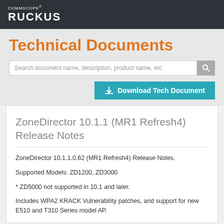COMMSCOPE RUCKUS
Technical Documents
Search document name, description, product name, etc
Download Tech Document
ZoneDirector 10.1.1 (MR1 Refresh4) Release Notes
ZoneDirector 10.1.1.0.62 (MR1 Refresh4) Release Notes.
Supported Models: ZD1200, ZD3000
* ZD5000 not supported in 10.1 and later.
Includes WPA2 KRACK Vulnerability patches, and support for new E510 and T310 Series model AP.